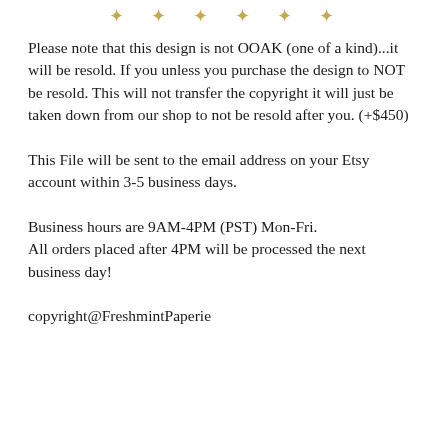✦ ✦ ✦ ✦ ✦ ✦
Please note that this design is not OOAK (one of a kind)...it will be resold. If you unless you purchase the design to NOT be resold. This will not transfer the copyright it will just be taken down from our shop to not be resold after you. (+$450)
This File will be sent to the email address on your Etsy account within 3-5 business days.
Business hours are 9AM-4PM (PST) Mon-Fri.
All orders placed after 4PM will be processed the next business day!
copyright@FreshmintPaperie